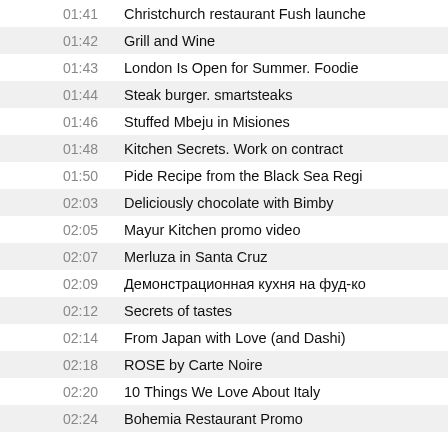| Time | Title |
| --- | --- |
| 01:41 | Christchurch restaurant Fush launche |
| 01:42 | Grill and Wine |
| 01:43 | London Is Open for Summer. Foodie |
| 01:44 | Steak burger. smartsteaks |
| 01:46 | Stuffed Mbeju in Misiones |
| 01:48 | Kitchen Secrets. Work on contract |
| 01:50 | Pide Recipe from the Black Sea Regi |
| 02:03 | Deliciously chocolate with Bimby |
| 02:05 | Mayur Kitchen promo video |
| 02:07 | Merluza in Santa Cruz |
| 02:09 | Демонстрационная кухня на фуд-ко |
| 02:12 | Secrets of tastes |
| 02:14 | From Japan with Love (and Dashi) |
| 02:18 | ROSE by Carte Noire |
| 02:20 | 10 Things We Love About Italy |
| 02:24 | Bohemia Restaurant Promo |